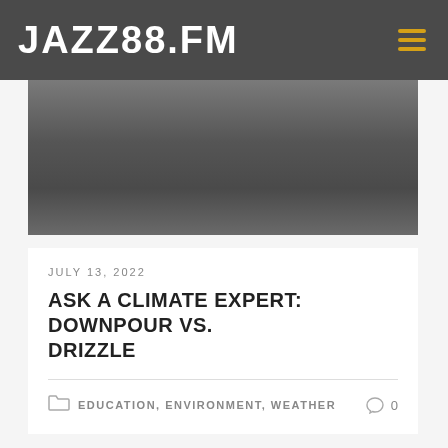JAZZ88.FM
[Figure (photo): Blurred dark grey abstract background image, possibly a rainy or overcast sky or water surface]
JULY 13, 2022
ASK A CLIMATE EXPERT: DOWNPOUR VS. DRIZZLE
EDUCATION, ENVIRONMENT, WEATHER  0